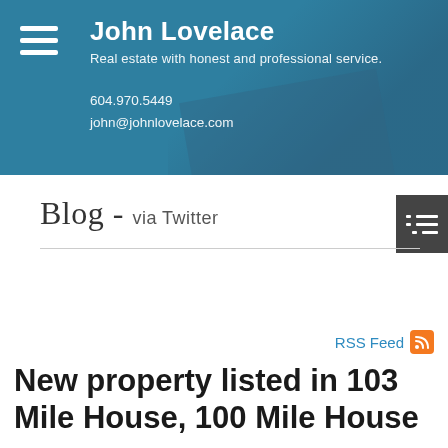John Lovelace
Real estate with honest and professional service.
604.970.5449
john@johnlovelace.com
Blog - via Twitter
RSS Feed
New property listed in 103 Mile House, 100 Mile House